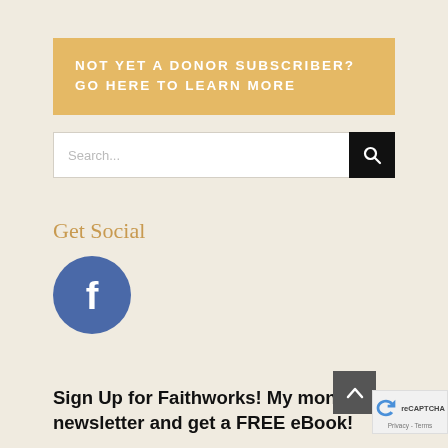NOT YET A DONOR SUBSCRIBER? GO HERE TO LEARN MORE
Search...
Get Social
[Figure (logo): Facebook circular logo icon with white 'f' on blue background]
Sign Up for Faithworks! My monthly newsletter and get a FREE eBook!